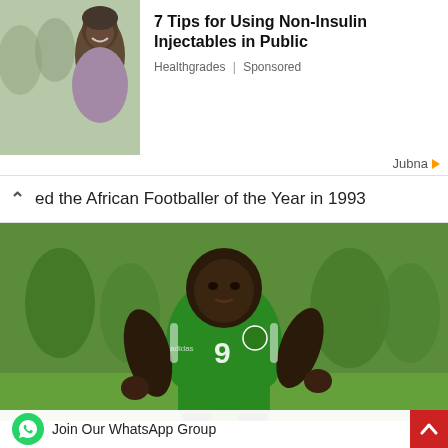[Figure (photo): Advertisement banner with a photo of people smiling outdoors on the left, and article title on the right: 7 Tips for Using Non-Insulin Injectables in Public, Healthgrades | Sponsored]
7 Tips for Using Non-Insulin Injectables in Public
Healthgrades | Sponsored
Jubna
ed the African Footballer of the Year in 1993
[Figure (photo): Nigerian footballer wearing green jersey number 9, running during a match. The player appears to be Rashidi Yekini.]
Join Our WhatsApp Group